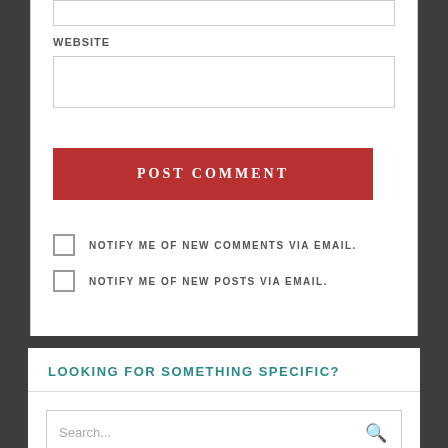WEBSITE
[input box - website field]
POST COMMENT
NOTIFY ME OF NEW COMMENTS VIA EMAIL.
NOTIFY ME OF NEW POSTS VIA EMAIL.
LOOKING FOR SOMETHING SPECIFIC?
Search...
CATEGORIES